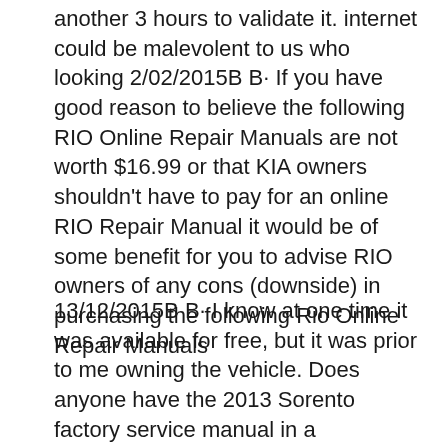another 3 hours to validate it. internet could be malevolent to us who looking 2/02/2015B B· If you have good reason to believe the following RIO Online Repair Manuals are not worth $16.99 or that KIA owners shouldn't have to pay for an online RIO Repair Manual it would be of some benefit for you to advise RIO owners of any cons (downside) in purchasing the following Rio Online Repair Manuals
13/12/2015B B· I know at one time it was available for free, but it was prior to me owning the vehicle. Does anyone have the 2013 Sorento factory service manual in a 18/09/2013B B· KIA RIO 2013 service repair manual Workshop